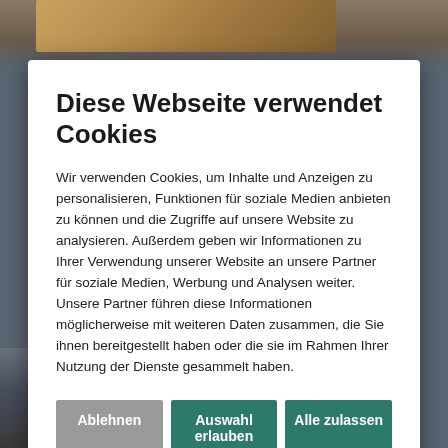[Figure (screenshot): Cookie consent dialog overlaying a webpage with a photo background. The dialog has a white box with German text, three buttons (Ablehnen, Auswahl erlauben, Alle zulassen), and checkboxes for Notwendig, Präferenzen, Statistiken, Marketing with a Details zeigen dropdown.]
Diese Webseite verwendet Cookies
Wir verwenden Cookies, um Inhalte und Anzeigen zu personalisieren, Funktionen für soziale Medien anbieten zu können und die Zugriffe auf unsere Website zu analysieren. Außerdem geben wir Informationen zu Ihrer Verwendung unserer Website an unsere Partner für soziale Medien, Werbung und Analysen weiter. Unsere Partner führen diese Informationen möglicherweise mit weiteren Daten zusammen, die Sie ihnen bereitgestellt haben oder die sie im Rahmen Ihrer Nutzung der Dienste gesammelt haben.
the pandemic,